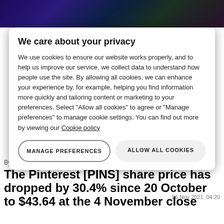[Figure (photo): Background photo of a person, dark tones with purple/teal gradient overlay at top]
By Opto
06 Nov 2021, 04:20
The Pinterest [PINS] share price has dropped by 30.4% since 20 October to $43.64 at the 4 November close
We care about your privacy
We use cookies to ensure our website works properly, and to help us improve our service, we collect data to understand how people use the site. By allowing all cookies, we can enhance your experience by, for example, helping you find information more quickly and tailoring content or marketing to your preferences. Select “Allow all cookies” to agree or “Manage preferences” to manage cookie settings. You can find out more by viewing our Cookie policy
MANAGE PREFERENCES
ALLOW ALL COOKIES
The main catalyst behind the fall was an announcement from PayPal [PYPL] that rumours of a potential $45bn acquisition of Pinterest were just that: there was no deal to be made.